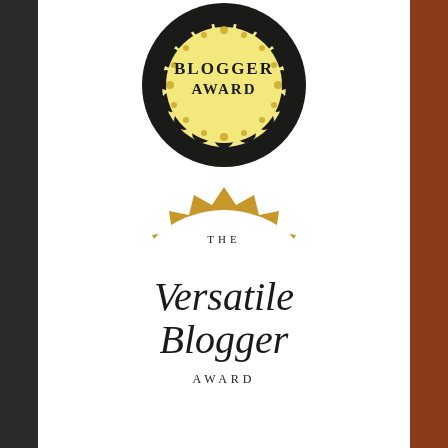[Figure (illustration): Top circular badge with dark floral/decorative border and yellow cloud-shaped center with text 'BLOGGER AWARD' in bold serif letters]
[Figure (illustration): Gold zigzag/starburst seal badge with white interior. Text reads 'THE' at top in small spaced serif capitals, then 'Versatile Blogger' in large decorative script calligraphy, then 'AWARD' in small spaced serif capitals at the bottom.]